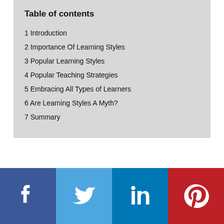Table of contents
1  Introduction
2  Importance Of Learning Styles
3  Popular Learning Styles
4  Popular Teaching Strategies
5  Embracing All Types of Learners
6  Are Learning Styles A Myth?
7  Summary
[Figure (infographic): Social media share buttons: Facebook (dark blue), Twitter (light blue), LinkedIn (medium blue), Pinterest (red)]